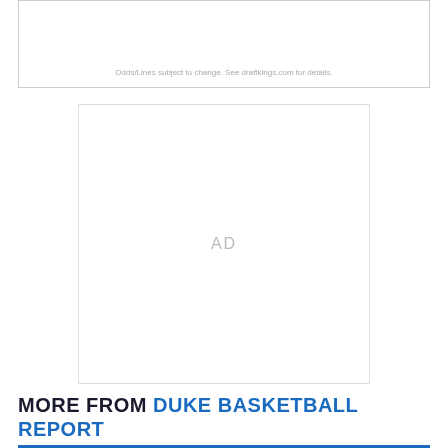Odds/Lines subject to change. See draftkings.com for details.
[Figure (other): Advertisement placeholder box with AD label centered]
MORE FROM DUKE BASKETBALL REPORT